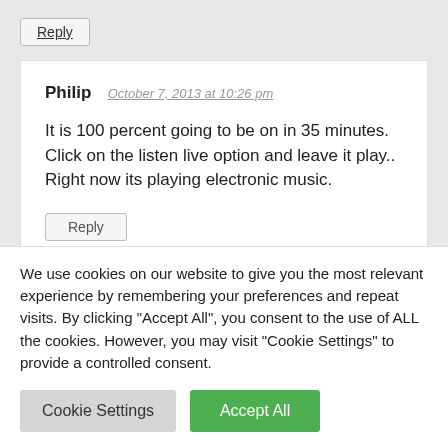Reply
Philip  October 7, 2013 at 10:26 pm
It is 100 percent going to be on in 35 minutes. Click on the listen live option and leave it play.. Right now its playing electronic music.
Reply
We use cookies on our website to give you the most relevant experience by remembering your preferences and repeat visits. By clicking "Accept All", you consent to the use of ALL the cookies. However, you may visit "Cookie Settings" to provide a controlled consent.
Cookie Settings
Accept All